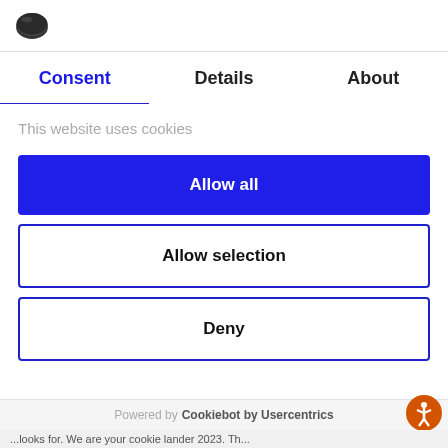[Figure (logo): Cookie/Cookiebot icon - black oval cookie shape]
Consent | Details | About
This website uses cookies
Allow all
Allow selection
Deny
Powered by Cookiebot by Usercentrics